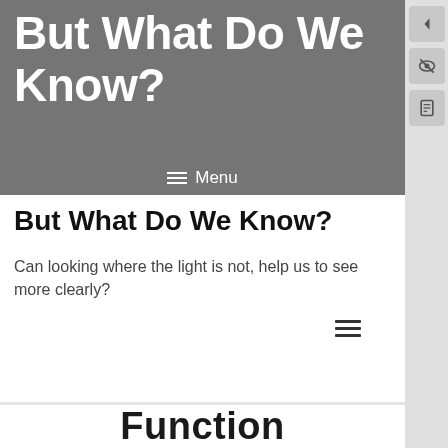But What Do We Know?
Menu
But What Do We Know?
Can looking where the light is not, help us to see more clearly?
Function